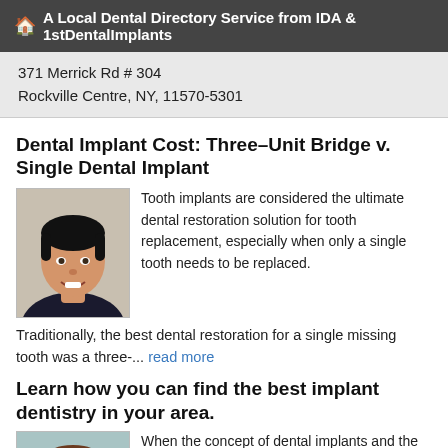A Local Dental Directory Service from IDA & 1stDentalImplants
371 Merrick Rd # 304
Rockville Centre, NY, 11570-5301
Dental Implant Cost: Three-Unit Bridge v. Single Dental Implant
[Figure (photo): Portrait photo of a smiling young Asian man]
Tooth implants are considered the ultimate dental restoration solution for tooth replacement, especially when only a single tooth needs to be replaced.
Traditionally, the best dental restoration for a single missing tooth was a three-... read more
Learn how you can find the best implant dentistry in your area.
[Figure (photo): Portrait photo of a smiling young man with short hair]
When the concept of dental implants and the mechanisms in which they work were introduced to mainstream dentistry during the late 1970's, the advent of dental implants